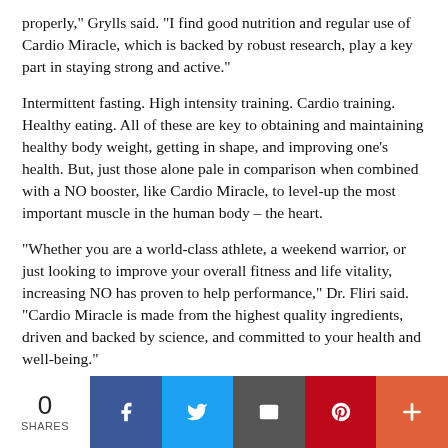properly,” Grylls said. “I find good nutrition and regular use of Cardio Miracle, which is backed by robust research, play a key part in staying strong and active.”
Intermittent fasting. High intensity training. Cardio training. Healthy eating. All of these are key to obtaining and maintaining healthy body weight, getting in shape, and improving one’s health. But, just those alone pale in comparison when combined with a NO booster, like Cardio Miracle, to level-up the most important muscle in the human body – the heart.
“Whether you are a world-class athlete, a weekend warrior, or just looking to improve your overall fitness and life vitality, increasing NO has proven to help performance,” Dr. Fliri said. “Cardio Miracle is made from the highest quality ingredients, driven and backed by science, and committed to your health and well-being.”
*These statements have not been evaluated by the Food and Drug Administration. This product is not intended to
0 SHARES | Facebook | Twitter | Email | Pinterest | More